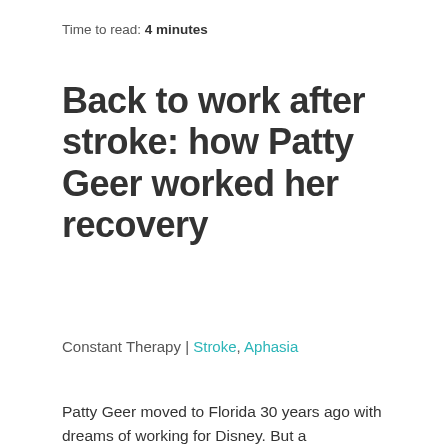Time to read: 4 minutes
Back to work after stroke: how Patty Geer worked her recovery
Constant Therapy | Stroke, Aphasia
Patty Geer moved to Florida 30 years ago with dreams of working for Disney. But a